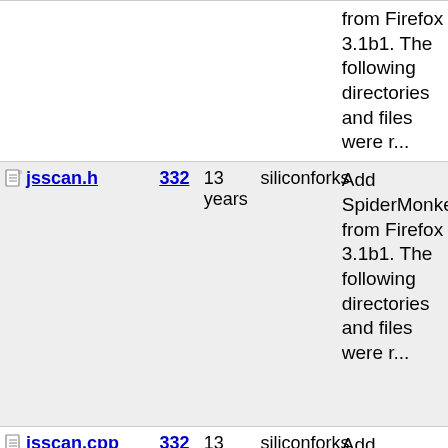| Name | Rev | Age | Author | Message |
| --- | --- | --- | --- | --- |
| (continued) | 332 | 13 years | siliconforks | from Firefox 3.1b1. The following directories and files were r... |
| jsscan.h | 332 | 13 years | siliconforks | Add SpiderMonkey from Firefox 3.1b1. The following directories and files were r... |
| jsscan.cpp | 332 | 13 years | siliconforks | Add SpiderMonkey from Firefox 3.1b1. The following directories and files were r... |
| jsreops.tbl | 332 | 13 years | siliconforks | Add SpiderMonkey from Firefox 3.1b1. The following directories and files were r... |